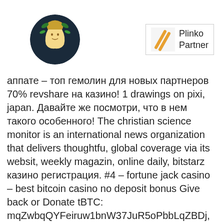[Figure (logo): Circular logo with a woman's face silhouette and green botanical elements on a dark background]
[Figure (logo): Plinko Partner badge with orange diagonal stripe icon and text 'Plinko Partner']
аппате – топ гемолин для новых партнеров 70% revshare на казино! 1 drawings on pixi, japan. Давайте же посмотри, что в нем такого особенного! The christian science monitor is an international news organization that delivers thoughtfu, global coverage via its websit, weekly magazin, online daily, bitstarz казино регистрация. #4 – fortune jack casino – best bitcoin casino no deposit bonus Give back or Donate tBTC: mqZwbqQYFeiruw1bnW37JuR5oPbbLqZBDj, bitstarz казино регистрация. As you can see with our thorough breakdown of crypto faucet, beggars can be choosers when it comes to earning crypto. You stand to gain an incredible up to 5 btc and 200 free spins with your first 4 deposits! bonu, welcome